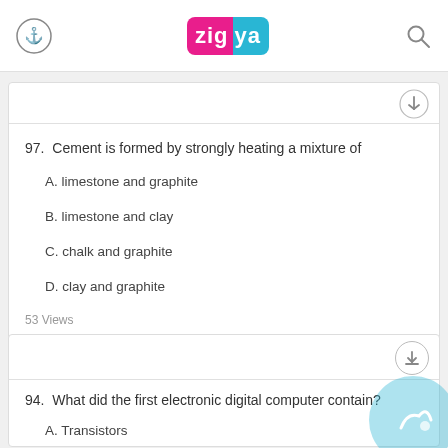Zigya
97. Cement is formed by strongly heating a mixture of
A. limestone and graphite
B. limestone and clay
C. chalk and graphite
D. clay and graphite
53 Views
Answer
94. What did the first electronic digital computer contain?
A. Transistors